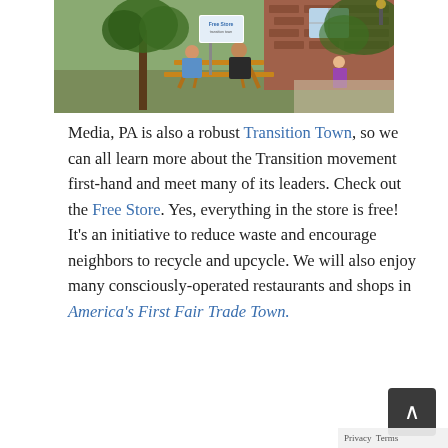[Figure (photo): Outdoor scene showing people at a wooden picnic table in a shaded area next to a brick building. A blue and white sign for a Free Store is visible on a pole. A child in a purple outfit stands on a walkway to the right.]
Media, PA is also a robust Transition Town, so we can all learn more about the Transition movement first-hand and meet many of its leaders. Check out the Free Store. Yes, everything in the store is free! It's an initiative to reduce waste and encourage neighbors to recycle and upcycle. We will also enjoy many consciously-operated restaurants and shops in America's First Fair Trade Town.